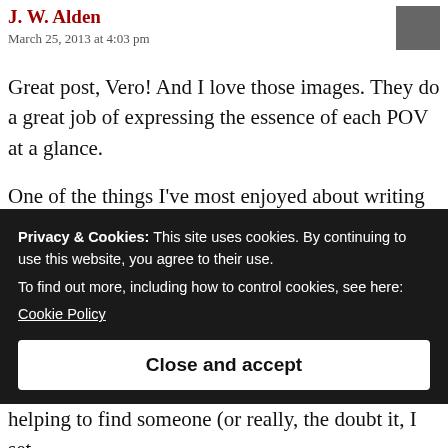J. W. Alden
March 25, 2013 at 4:03 pm
Great post, Vero! And I love those images. They do a great job of expressing the essence of each POV at a glance.
One of the things I’ve most enjoyed about writing short stories is the freedom it gives me to experiment and play around with different POVs from story to story. You have to think long and hard about what POV you’re going to use if
Privacy & Cookies: This site uses cookies. By continuing to use this website, you agree to their use.
To find out more, including how to control cookies, see here:
Cookie Policy
Close and accept
helping to find someone (or really, the doubt it, I set